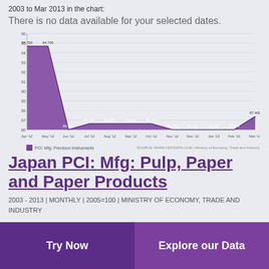2003 to Mar 2013 in the chart:
There is no data available for your selected dates.
[Figure (area-chart): PCI: Mfg: Precision Instruments]
PCI: Mfg: Precision Instruments
SOURCE: WWW.CEICDATA.COM | Ministry of Economy, Trade and Industry
Japan PCI: Mfg: Pulp, Paper and Paper Products
2003 - 2013 | MONTHLY | 2005=100 | MINISTRY OF ECONOMY, TRADE AND INDUSTRY
Try Now | Explore our Data